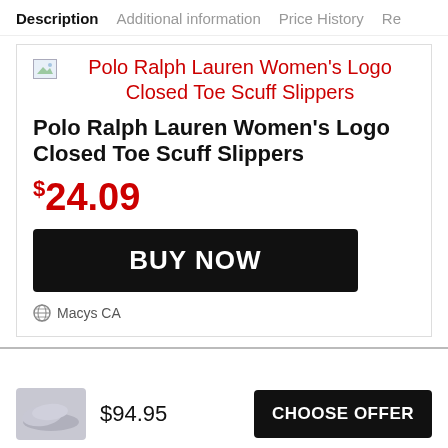Description | Additional information | Price History | Re
[Figure (photo): Small broken image placeholder icon next to product title link in red text: Polo Ralph Lauren Women's Logo Closed Toe Scuff Slippers]
Polo Ralph Lauren Women's Logo Closed Toe Scuff Slippers
$24.09
BUY NOW
Macys CA
[Figure (photo): Thumbnail image of a grey slipper shoe]
$94.95
CHOOSE OFFER